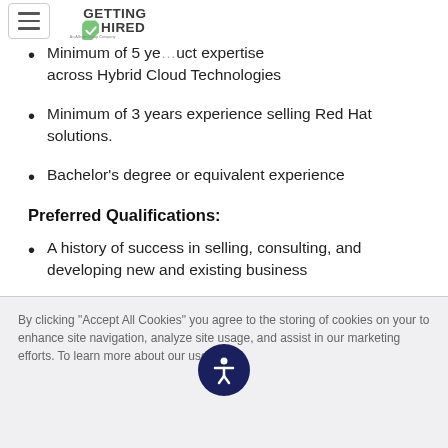Getting Hired - An Allegis Group Company
Minimum of 5 years product expertise across Hybrid Cloud Technologies
Minimum of 3 years experience selling Red Hat solutions.
Bachelor's degree or equivalent experience
Preferred Qualifications:
A history of success in selling, consulting, and developing new and existing business
Proven capability to building relationships with CXO/Director/VP level client contacts Deep
By clicking “Accept All Cookies” you agree to the storing of cookies on your device to enhance site navigation, analyze site usage, and assist in our marketing efforts. To learn more about our use of